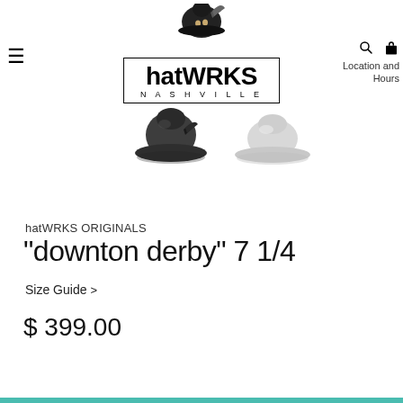[Figure (logo): hatWRKS Nashville logo with illustrated figure wearing a hat above a bordered text box reading 'hatWRKS NASHVILLE']
[Figure (photo): Two derby-style hats side by side: one dark charcoal/black with a small feather detail, and one light gray/white, both shown at a slight angle]
hatWRKS ORIGINALS
"downton derby" 7 1/4
Size Guide >
$ 399.00